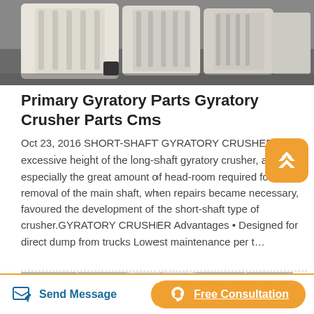[Figure (photo): Photo of white painted gyratory crusher parts (jaw plates) lined up in a factory/warehouse setting]
Primary Gyratory Parts Gyratory Crusher Parts Cms
Oct 23, 2016 SHORT-SHAFT GYRATORY CRUSHERS. The excessive height of the long-shaft gyratory crusher, and especially the great amount of head-room required for the removal of the main shaft, when repairs became necessary, favoured the development of the short-shaft type of crusher.GYRATORY CRUSHER Advantages • Designed for direct dump from trucks Lowest maintenance per t…
[Figure (photo): Photo of industrial machinery/crane hook in a warehouse with skylights visible]
Send Message
Free Consultation